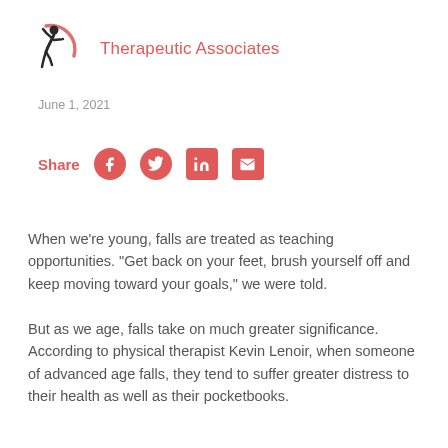[Figure (logo): Therapeutic Associates logo with a stylized human figure silhouette in dark gray and a pink/red crescent arc, beside the text 'Therapeutic Associates' in salmon/red color]
June 1, 2021
[Figure (infographic): Share row with Facebook, Twitter, LinkedIn, and Email social media icons in salmon/red circles and squares, preceded by a 'Share' label in salmon/red]
When we're young, falls are treated as teaching opportunities. "Get back on your feet, brush yourself off and keep moving toward your goals," we were told.
But as we age, falls take on much greater significance. According to physical therapist Kevin Lenoir, when someone of advanced age falls, they tend to suffer greater distress to their health as well as their pocketbooks.